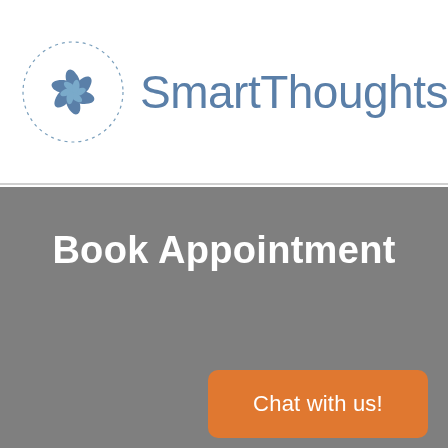SmartThoughts — Home
[Figure (logo): SmartThoughts spiral logo in steel blue with dotted circular border]
Book Appointment
Chat with us!